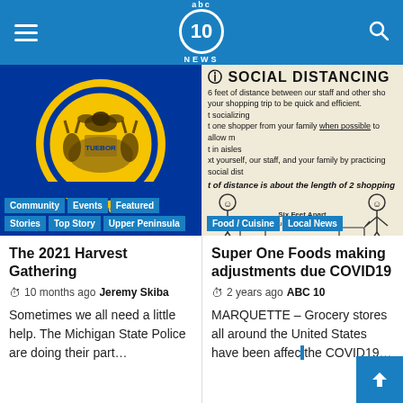ABC 10 NEWS
[Figure (photo): Michigan State Police seal on blue background with yellow circular state seal. Tags: Community, Events, Featured, Stories, Top Story, Upper Peninsula]
[Figure (photo): Social Distancing infographic showing stick figures with shopping carts six feet apart. Tags: Food / Cuisine, Local News]
The 2021 Harvest Gathering
10 months ago Jeremy Skiba
Sometimes we all need a little help. The Michigan State Police are doing their part...
Super One Foods making adjustments due COVID19
2 years ago ABC 10
MARQUETTE – Grocery stores all around the United States have been affected by the COVID19...